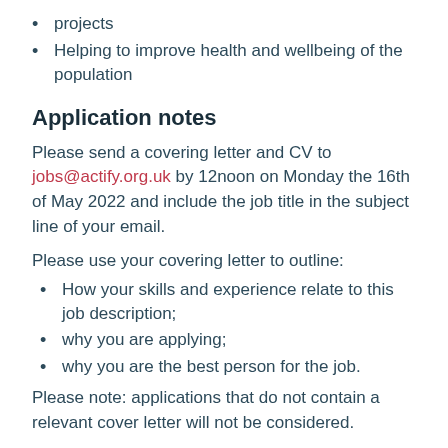projects
Helping to improve health and wellbeing of the population
Application notes
Please send a covering letter and CV to jobs@actify.org.uk by 12noon on Monday the 16th of May 2022 and include the job title in the subject line of your email.
Please use your covering letter to outline:
How your skills and experience relate to this job description;
why you are applying;
why you are the best person for the job.
Please note: applications that do not contain a relevant cover letter will not be considered.
Interviews are scheduled for the week commencing the 30th of May and will involve competency-based questions